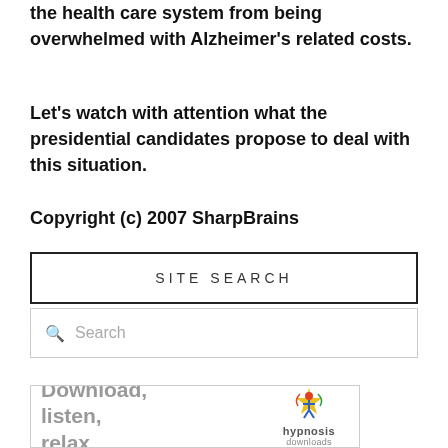the health care system from being overwhelmed with Alzheimer's related costs.
Let's watch with attention what the presidential candidates propose to deal with this situation.
Copyright (c) 2007 SharpBrains
SITE SEARCH
Search
[Figure (other): Advertisement banner for hypnosis downloads with text 'Download, listen, relax' and hypnosis downloads logo]